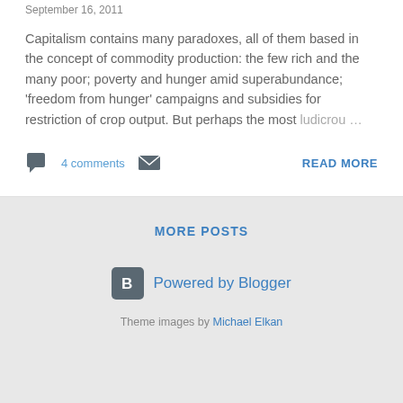September 16, 2011
Capitalism contains many paradoxes, all of them based in the concept of commodity production: the few rich and the many poor; poverty and hunger amid superabundance; 'freedom from hunger' campaigns and subsidies for restriction of crop output. But perhaps the most ludicrou...
4 comments
READ MORE
MORE POSTS
[Figure (logo): Blogger logo icon - square with rounded corners in dark grey with letter B]
Powered by Blogger
Theme images by Michael Elkan